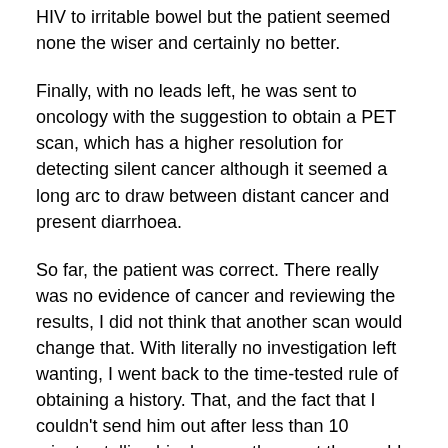HIV to irritable bowel but the patient seemed none the wiser and certainly no better.
Finally, with no leads left, he was sent to oncology with the suggestion to obtain a PET scan, which has a higher resolution for detecting silent cancer although it seemed a long arc to draw between distant cancer and present diarrhoea.
So far, the patient was correct. There really was no evidence of cancer and reviewing the results, I did not think that another scan would change that. With literally no investigation left wanting, I went back to the time-tested rule of obtaining a history. That, and the fact that I couldn’t send him out after less than 10 minutes telling him he was the most thoroughly investigated patient I had ever met and he didn’t really need to see me.